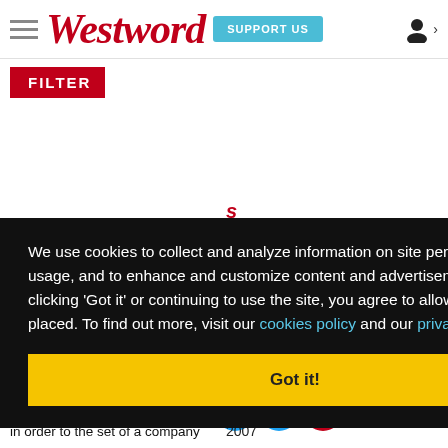Westword — SUPPORT US
FILTER
We use cookies to collect and analyze information on site performance and usage, and to enhance and customize content and advertisements. By clicking 'Got it' or continuing to use the site, you agree to allow cookies to be placed. To find out more, visit our cookies policy and our privacy policy.
Got it!
that a bowl game loss could be traced to AFA's